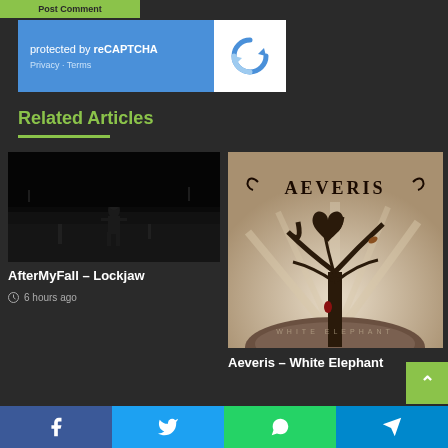Post Comment
[Figure (screenshot): reCAPTCHA widget with blue background showing 'protected by reCAPTCHA' text, Privacy and Terms links, and the Google reCAPTCHA logo on white background]
Related Articles
[Figure (photo): Dark black and white photo of a person standing in a parking lot at night]
AfterMyFall – Lockjaw
6 hours ago
[Figure (photo): Album cover for Aeveris - White Elephant showing a dark tree illustration with 'AEVERIS' text on a beige/tan background]
Aeveris – White Elephant
[Figure (other): Share bar with Facebook, Twitter, WhatsApp, and Telegram icons]